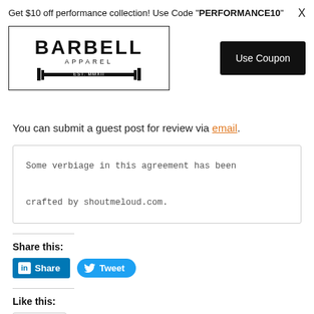Get $10 off performance collection! Use Code "PERFORMANCE10"
[Figure (logo): Barbell Apparel logo with barbell graphic, est. MMXII]
[Figure (other): Use Coupon button (black)]
You can submit a guest post for review via email.
Some verbiage in this agreement has been crafted by shoutmeloud.com.
Share this:
[Figure (other): LinkedIn Share button and Twitter Tweet button]
Like this:
[Figure (other): Like button with star icon]